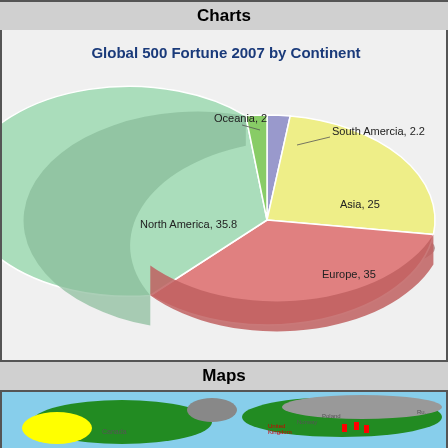Charts
[Figure (pie-chart): Global 500 Fortune 2007 by Continent]
Maps
[Figure (map): World map showing Fortune Global 500 companies by continent, with countries highlighted in green, yellow (Alaska/US), and red markers on Europe region.]